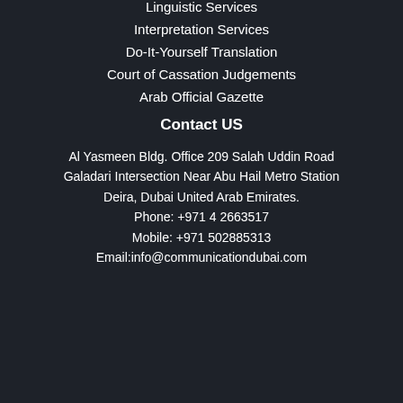Linguistic Services
Interpretation Services
Do-It-Yourself Translation
Court of Cassation Judgements
Arab Official Gazette
Contact US
Al Yasmeen Bldg. Office 209 Salah Uddin Road
Galadari Intersection Near Abu Hail Metro Station
Deira, Dubai United Arab Emirates.
Phone: +971 4 2663517
Mobile: +971 502885313
Email:info@communicationdubai.com